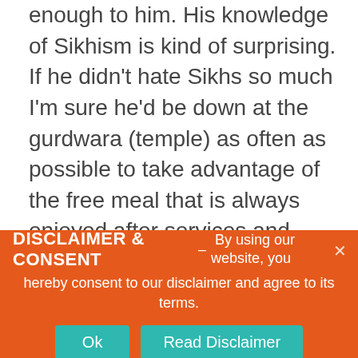enough to him. His knowledge of Sikhism is kind of surprising. If he didn't hate Sikhs so much I'm sure he'd be down at the gurdwara (temple) as often as possible to take advantage of the free meal that is always enjoyed after services and open to any and all people visiting the temple, Sikh, Hindu, Christian, white, black, brown whatever without any preference or bias, it's just part of their religious ideals of charity and fellowship to all mankind. Then again it's a vegetarian meal so
DISCLAIMER & CONSENT – By using our website, you hereby consent to our disclaimer and agree to its terms.
Ok
Read Disclaimer